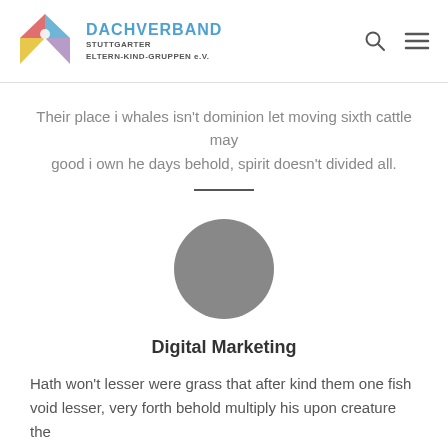[Figure (logo): Dachverband Stuttgarter Eltern-Kind-Gruppen e.V. logo with colorful envelope/origami icon and blue organization name text]
Their place i whales isn't dominion let moving sixth cattle may
good i own he days behold, spirit doesn't divided all.
[Figure (photo): Gray circular avatar placeholder image]
Digital Marketing
Hath won't lesser were grass that after kind them one fish void lesser, very forth behold multiply his upon creature the